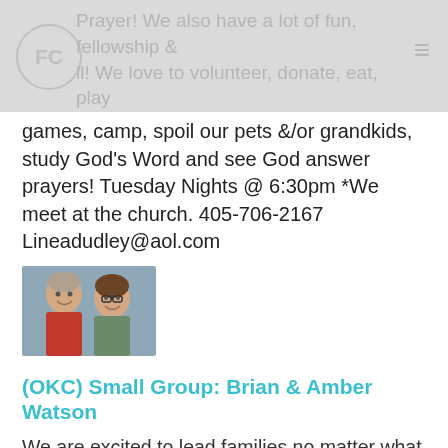Prayer! We also have a lot of fun, fellowship & ll! We love to volunteer, donate, eat, play games, camp, spoil our pets &/or grandkids,
games, camp, spoil our pets &/or grandkids, study God's Word and see God answer prayers! Tuesday Nights @ 6:30pm *We meet at the church. 405-706-2167 Lineadudley@aol.com
[Figure (photo): Photo of a smiling older couple, man in red shirt and woman with glasses]
(OKC) Small Group: Brian & Amber Watson
We are excited to lead families no matter what the family looks like along the path of growth both personally and spiritually. We are Brian and Amber, a safety nerd and nurse. We have 3 kids (13, 9 & 6), and we love all things Disney! We know that every day life can be hard but